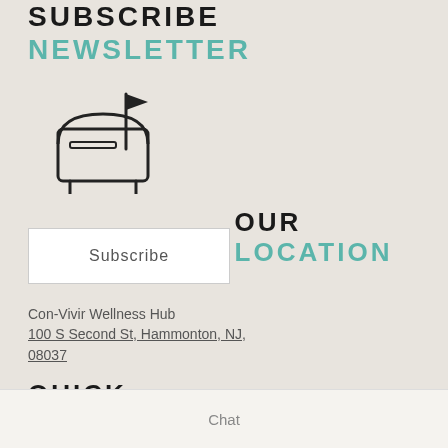SUBSCRIBE NEWSLETTER
[Figure (illustration): Mailbox icon with flag raised, outline style]
Subscribe
OUR LOCATION
Con-Vivir Wellness Hub
100 S Second St, Hammonton, NJ, 08037
QUICK LINKS
About
Chat